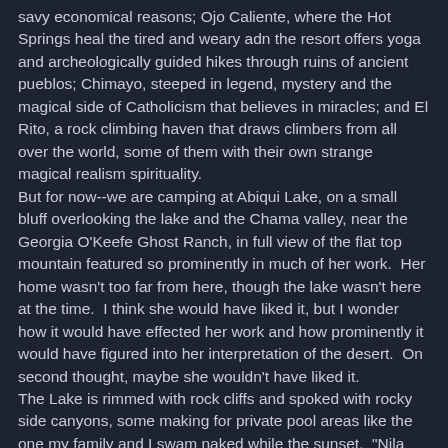savy economical reasons; Ojo Caliente, where the Hot Springs heal the tired and weary adn the resort offers yoga and archeologically guided hikes through ruins of ancient pueblos; Chimayo, steeped in legend, mystery and the magical side of Catholicism that believes in miracles; and El Rito, a rock climbing haven that draws climbers from all over the world, some of them with their own strange magical realism spirituality.
But for now--we are camping at Abiqui Lake, on a small bluff overlooking the lake and the Chama valley, near the Georgia O'Keefe Ghost Ranch, in full view of the flat top mountain featured so prominently in much of her work.  Her home wasn't too far from here, though the lake wasn't here at the time.  I think she would have liked it, but I wonder how it would have effected her work and how prominently it would have figured into her interpretation of the desert.  On second thought, maybe she wouldn't have liked it.
The Lake is rimmed with rock cliffs and spoked with rocky side canyons, some making for private pool areas like the one my family and I swam naked while the sunset.  "Nila get tummy wet?"  Across the valley, higher cliffs can be seen, red, beige, pink, off in the distance, but not so far that the red